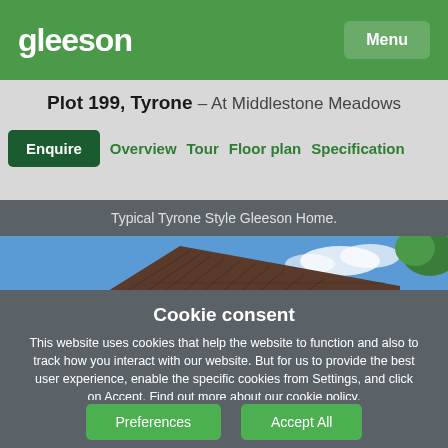gleeson
Plot 199, Tyrone – At Middlestone Meadows
Enquire | Overview | Tour | Floor plan | Specification
Typical Tyrone Style Gleeson Home.
[Figure (photo): Rooftop of a brick house against blue sky with trees]
Cookie consent
This website uses cookies that help the website to function and also to track how you interact with our website. But for us to provide the best user experience, enable the specific cookies from Settings, and click on Accept. Find out more about our cookie policy.
Preferences | Accept All